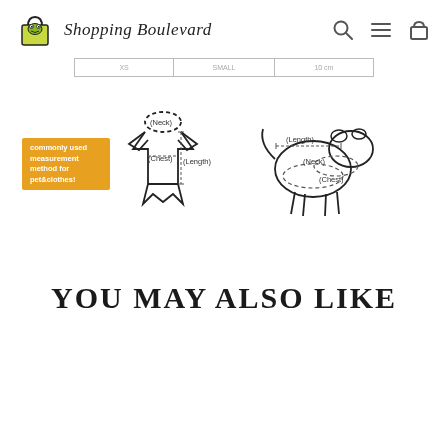Shopping Boulevard
|  |  |  |
| --- | --- | --- |
|  |  |  |
[Figure (illustration): Measurement diagram for pet clothes showing a dog shirt with labels for Neck, Chest, and Length, and a side-profile dog illustration with labels for Length, Neck, and Chest]
commonly used measurement method for pet&clothes!
YOU MAY ALSO LIKE